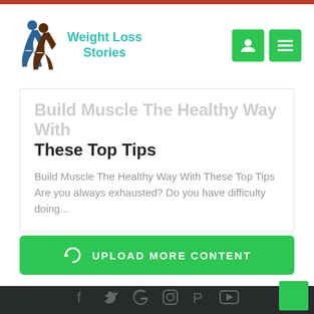Weight Loss Stories
Build Muscle The Healthy Way With These Top Tips
Build Muscle The Healthy Way With These Top Tips Are you always exhausted? Do you have difficulty doing...
UPLOAD MORE CONTENT
Social media icons: Facebook, Twitter, Google, Instagram, Pinterest, YouTube